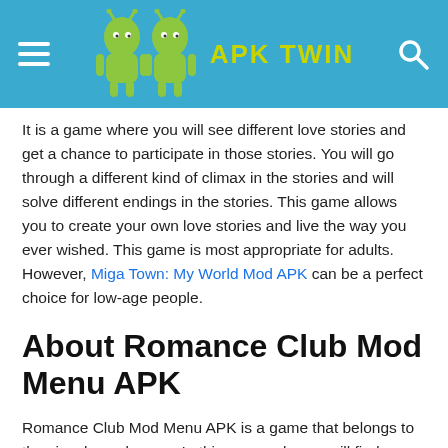APK TWIN
It is a game where you will see different love stories and get a chance to participate in those stories. You will go through a different kind of climax in the stories and will solve different endings in the stories. This game allows you to create your own love stories and live the way you ever wished. This game is most appropriate for adults. However, Miga Town: My World Mod APK can be a perfect choice for low-age people.
About Romance Club Mod Menu APK
Romance Club Mod Menu APK is a game that belongs to the visual novel genre. In this game, players will find a massive collection of stories in which they can participate and change the scenario in the direction they want. As you start playing the game, you will be given different choices to choose a story from a list of stories, such as Rage of the Titans or Dracula. A love story Legend of the Willow, Aracanum, On Thin Ice, Heart of